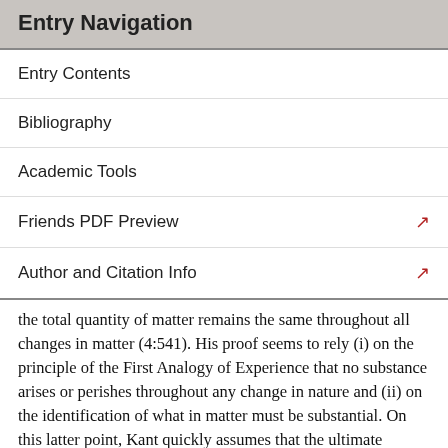Entry Navigation
Entry Contents
Bibliography
Academic Tools
Friends PDF Preview
Author and Citation Info
the total quantity of matter remains the same throughout all changes in matter (4:541). His proof seems to rely (i) on the principle of the First Analogy of Experience that no substance arises or perishes throughout any change in nature and (ii) on the identification of what in matter must be substantial. On this latter point, Kant quickly assumes that the ultimate subject of all accidents inhering in matter must be the movable in space, and that its quantity is the aggregate of the movable in space. In his remark to this proposition, Kant explicitly notes that there is a crucial difference between spatial and non-spatial substances,